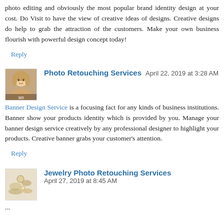photo editing and obviously the most popular brand identity design at your cost. Do Visit to have the view of creative ideas of designs. Creative designs do help to grab the attraction of the customers. Make your own business flourish with powerful design concept today!
Reply
[Figure (photo): Avatar photo of a woman for Photo Retouching Services commenter]
Photo Retouching Services   April 22, 2019 at 3:28 AM
Banner Design Service is a focusing fact for any kinds of business institutions. Banner show your products identity which is provided by you. Manage your banner design service creatively by any professional designer to highlight your products. Creative banner grabs your customer's attention.
Reply
[Figure (photo): Avatar photo of jewelry items for Jewelry Photo Retouching Services commenter]
Jewelry Photo Retouching Services   April 27, 2019 at 8:45 AM
...